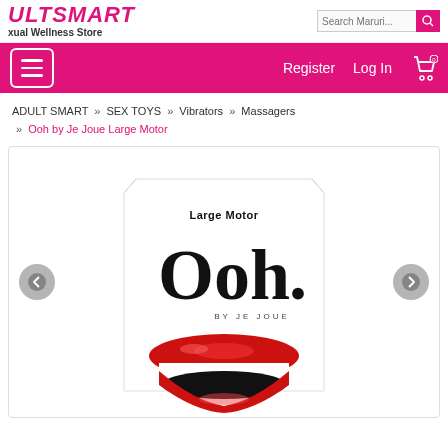ADULTSMART — Sexual Wellness Store
Register  Log In  (0)
ADULT SMART » SEX TOYS » Vibrators » Massagers » Ooh by Je Joue Large Motor
[Figure (photo): Product image of Ooh by Je Joue Large Motor in its packaging — a white trapezoid-shaped box with 'Large Motor' text at top, large stylised 'Ooh.' logo in serif font, 'BY JE JOUE' below, and a red lips/massager product in front of the box. Navigation arrows (left/right) flank the image.]